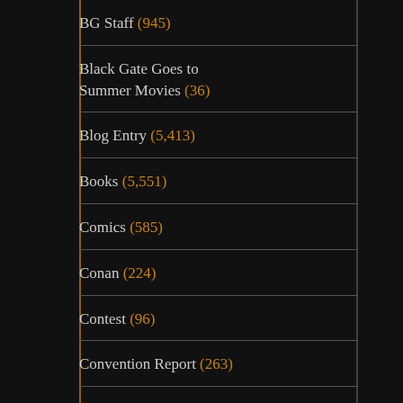BG Staff (945)
Black Gate Goes to Summer Movies (36)
Blog Entry (5,413)
Books (5,551)
Comics (585)
Conan (224)
Contest (96)
Convention Report (263)
Discovering Robert E. Howard (57)
Editor's Blog (1,412)